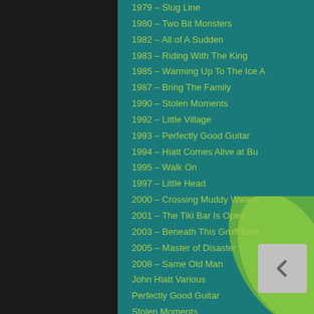1979 – Slug Line
1980 – Two Bit Monsters
1982 – All of A Sudden
1983 – Riding With The King
1985 – Warming Up To The Ice A
1987 – Bring The Family
1990 – Stolen Moments
1992 – Little Village
1993 – Perfectly Good Guitar
1994 – Hiatt Comes Alive at Bu
1995 – Walk On
1997 – Little Head
2000 – Crossing Muddy Waters
2001 – The Tiki Bar Is Open
2003 – Beneath This Gruff Exte
2005 – Master of Disaster
2008 – Same Old Man
John Hiatt Various
Perfectly Good Guitar
Stolen Moments
John Hiatt and the Guilty Dogs | I
Hiatt Comes Alive at Budokan
John Lee Hooker & Canned Heat | I
Hooker 'N Heat